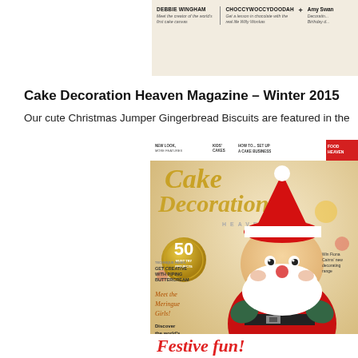[Figure (screenshot): Top strip of a magazine page showing contributor columns: DEBBIE WINGHAM – Meet the creator of the world's first cake canvas; CHOCCYWOCCYDOODAH – Get a lesson in chocolate with the real life Willy Wonkas; Amy Swan – Decorating Birthday d...]
Cake Decoration Heaven Magazine – Winter 2015
Our cute Christmas Jumper Gingerbread Biscuits are featured in the...
[Figure (photo): Cover of Cake Decoration Heaven Magazine Winter 2015 issue, featuring a fondant Santa Claus figure cake, with headline text '50 Must Try Projects', 'Get Creative With Piping Buttercream', 'Meet the Meringue Girls!', 'Discover the world's most expensive cake', and bottom banner 'Festive fun!']